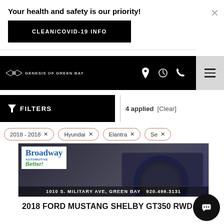Your health and safety is our priority!
CLEAN/COVID-19 INFO
[Figure (screenshot): Genesis of Green Bay navigation bar with logo, location/clock/phone icons, and hamburger menu]
FILTERS  |  4 applied  [Clear]
2018 - 2018 ×
Hyundai ×
Elantra ×
Se ×
[Figure (photo): Front of a Ford Mustang Shelby GT350 with Broadway Automotive dealer plate. Overlay text: 1010 S. MILITARY AVE, GREEN BAY  920.499.3131]
2018 FORD MUSTANG SHELBY GT350 RWD
# M033534
Mileage: 10,332
Fuel Economy: 14/21